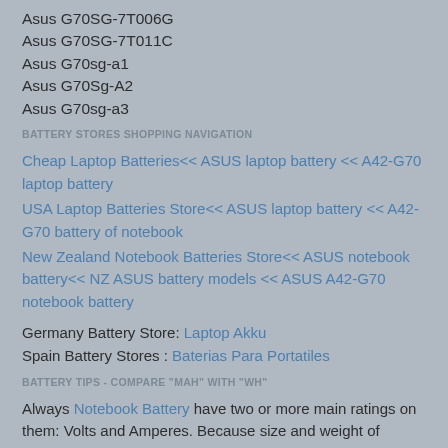Asus G70SG-7T006G
Asus G70SG-7T011C
Asus G70sg-a1
Asus G70Sg-A2
Asus G70sg-a3
BATTERY STORES SHOPPING NAVIGATION
Cheap Laptop Batteries<< ASUS laptop battery << A42-G70 laptop battery
USA Laptop Batteries Store<< ASUS laptop battery << A42-G70 battery of notebook
New Zealand Notebook Batteries Store<< ASUS notebook battery<< NZ ASUS battery models << ASUS A42-G70 notebook battery
Germany Battery Store: Laptop Akku
Spain Battery Stores : Baterias Para Portatiles
BATTERY TIPS - COMPARE "MAH" WITH "WH"
Always Notebook Battery have two or more main ratings on them: Volts and Amperes. Because size and weight of Laptop Battery is limited when compared to larger batteries such as car batteries, most companies show their ratings